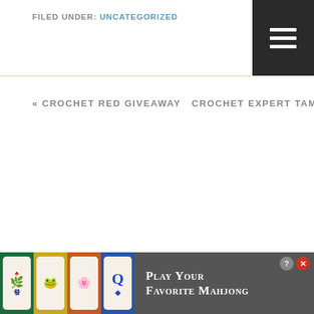FILED UNDER: UNCATEGORIZED
« CROCHET RED GIVEAWAY  CROCHET EXPERT TAMMY HILDEBRAND »
[Figure (screenshot): Advertisement banner for Mahjong game showing colorful mahjong tiles and the text 'Play Your Favorite Mahjong']